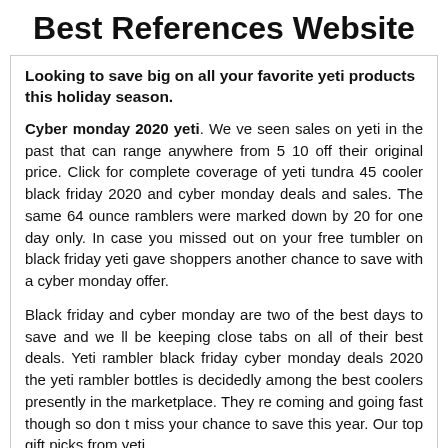Best References Website
Looking to save big on all your favorite yeti products this holiday season.
Cyber monday 2020 yeti. We ve seen sales on yeti in the past that can range anywhere from 5 10 off their original price. Click for complete coverage of yeti tundra 45 cooler black friday 2020 and cyber monday deals and sales. The same 64 ounce ramblers were marked down by 20 for one day only. In case you missed out on your free tumbler on black friday yeti gave shoppers another chance to save with a cyber monday offer.
Black friday and cyber monday are two of the best days to save and we ll be keeping close tabs on all of their best deals. Yeti rambler black friday cyber monday deals 2020 the yeti rambler bottles is decidedly among the best coolers presently in the marketplace. They re coming and going fast though so don t miss your chance to save this year. Our top gift picks from yeti.